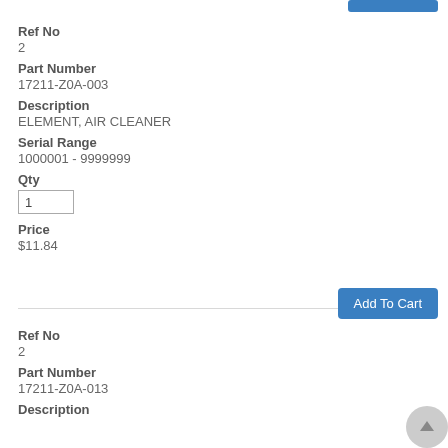Ref No
2
Part Number
17211-Z0A-003
Description
ELEMENT, AIR CLEANER
Serial Range
1000001 - 9999999
Qty
1
Price
$11.84
Add To Cart
Ref No
2
Part Number
17211-Z0A-013
Description